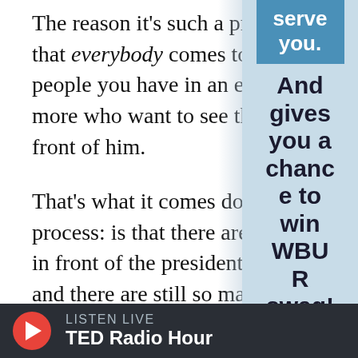The reason it's such a problem for a p[resident is] that everybody comes to the presiden[t...] people you have in an executive bran[ch...] more who want to see the president a[nd put things in] front of him.
That's what it comes down to in the d[ecision-making] process: is that there are just more h[uman beings] in front of the president wanting mo[re of his time] and there are still so many hours in t[he day.]
On Our Expectations Of The Preside[nt]
[During crises, Americans expect presidents...]
[Figure (other): Right sidebar with light blue background containing text about serving you, giving a chance to win WBUR swag, and a SHARE YO[UR] button]
LISTEN LIVE  TED Radio Hour